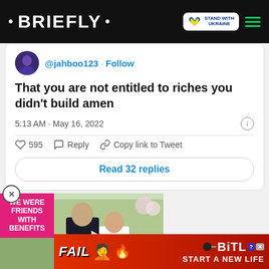• BRIEFLY • | STAND WITH UKRAINE
@jahboo123 · Follow
That you are not entitled to riches you didn't build amen
5:13 AM · May 16, 2022
595   Reply   Copy link to Tweet
Read 32 replies
[Figure (screenshot): Video thumbnail showing a couple with pink overlay text 'WE WERE FRIENDS WITH BENEFITS' and a play button]
[Figure (screenshot): BitLife advertisement banner with FAIL text, emoji, flames, and 'START A NEW LIFE' text on red background]